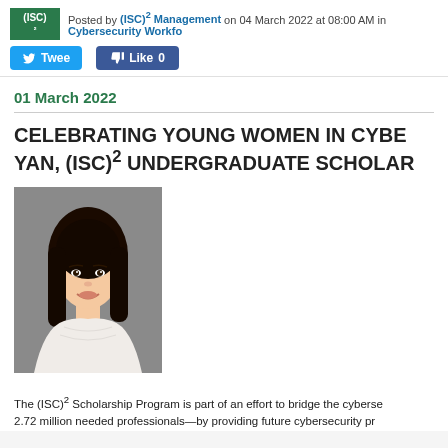[Figure (logo): (ISC)2 green square logo]
Posted by (ISC)² Management on 04 March 2022 at 08:00 AM in Cybersecurity Workfo…
Tweet  Like 0
01 March 2022
CELEBRATING YOUNG WOMEN IN CYBE… YAN, (ISC)² UNDERGRADUATE SCHOLAR…
[Figure (photo): Portrait photo of a young Asian woman with long dark hair, smiling, wearing a white lace top, against a gray background.]
The (ISC)² Scholarship Program is part of an effort to bridge the cyberse… 2.72 million needed professionals—by providing future cybersecurity pr…